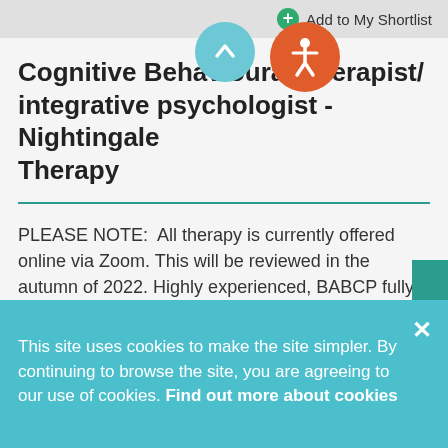Cognitive Behavioural Therapist/ integrative psychologist - Nightingale Therapy
PLEASE NOTE:  All therapy is currently offered online via Zoom. This will be reviewed in the autumn of 2022. Highly experienced, BABCP fully accredited CBT therapist and integrative psychologist working with depression, all types of anxiety, OCD, trauma/PTSD, complex trauma, emotion regulation difficulties (BPD), substance...
This site uses cookies to make the site simpler. By continuing to browse the site, you are agreeing to our use of cookies. Find out more about cookies